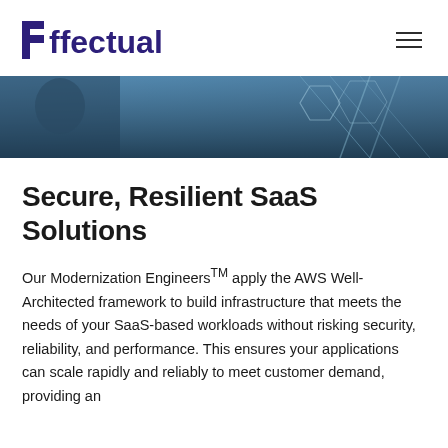Effectual
[Figure (photo): A blurred dark blue/teal background photo, partial view of a person and geometric shapes/lines]
Secure, Resilient SaaS Solutions
Our Modernization Engineers™ apply the AWS Well-Architected framework to build infrastructure that meets the needs of your SaaS-based workloads without risking security, reliability, and performance. This ensures your applications can scale rapidly and reliably to meet customer demand, providing an